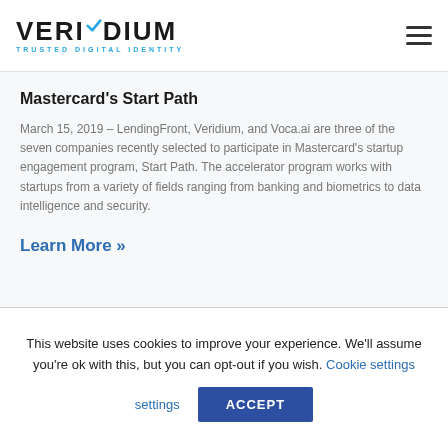[Figure (logo): Veridium logo with checkmark and tagline TRUSTED DIGITAL IDENTITY]
Mastercard's Start Path
March 15, 2019 – LendingFront, Veridium, and Voca.ai are three of the seven companies recently selected to participate in Mastercard's startup engagement program, Start Path. The accelerator program works with startups from a variety of fields ranging from banking and biometrics to data intelligence and security.
Learn More »
This website uses cookies to improve your experience. We'll assume you're ok with this, but you can opt-out if you wish. Cookie settings ACCEPT